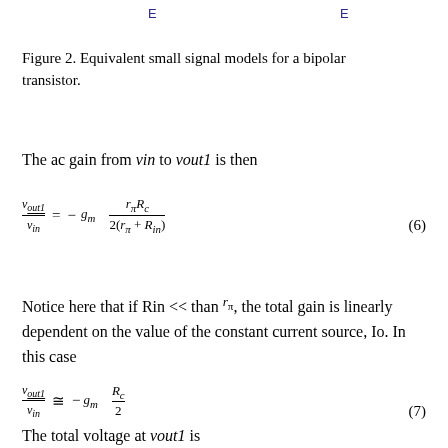E    E
Figure 2. Equivalent small signal models for a bipolar transistor.
The ac gain from vin to vout1 is then
Notice here that if Rin << than rπ, the total gain is linearly dependent on the value of the constant current source, Io. In this case
The total voltage at vout1 is